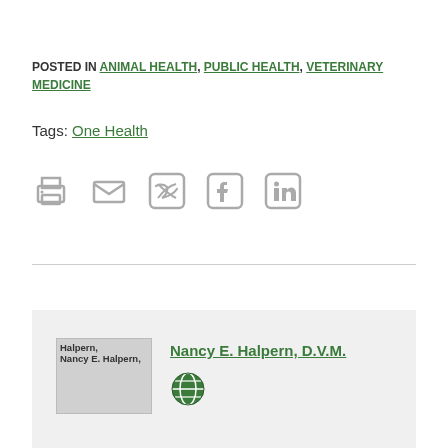POSTED IN ANIMAL HEALTH, PUBLIC HEALTH, VETERINARY MEDICINE
Tags: One Health
[Figure (infographic): Row of social sharing icons: print, email, Twitter, Facebook, LinkedIn]
[Figure (photo): Author photo placeholder with overlapping label text 'Halpern, Nancy E. Halpern, D.V.M.']
Nancy E. Halpern, D.V.M.
[Figure (infographic): Green globe/world icon]